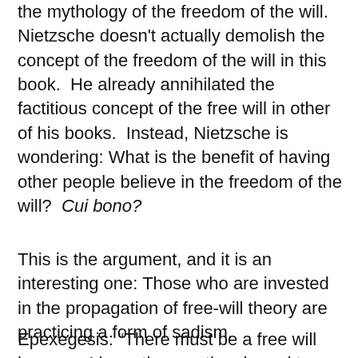the mythology of the freedom of the will. Nietzsche doesn't actually demolish the concept of the freedom of the will in this book.  He already annihilated the factitious concept of the free will in other of his books.  Instead, Nietzsche is wondering: What is the benefit of having other people believe in the freedom of the will?  Cui bono?
This is the argument, and it is an interesting one: Those who are invested in the propagation of free-will theory are practicing a form of sadism.
Epexegesis: “There must be a free will because I have the emotional need to believe in the free